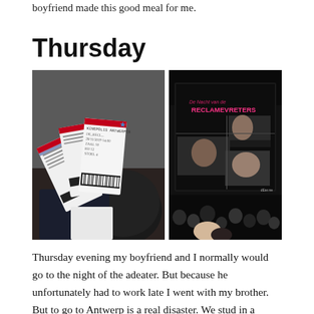boyfriend made this good meal for me.
Thursday
[Figure (photo): Two photos side by side: left photo shows a hand holding multiple cinema/event tickets; right photo shows a large screen display reading 'De Nacht van de RECLAMEVRETERS' with audience members visible below and photo collages on the screen.]
Thursday evening my boyfriend and I normally would go to the night of the adeater. But because he unfortunately had to work late I went with my brother. But to go to Antwerp is a real disaster. We stud in a traffic jam from 2h. So we arrived to late. But despite that we had an awesome night